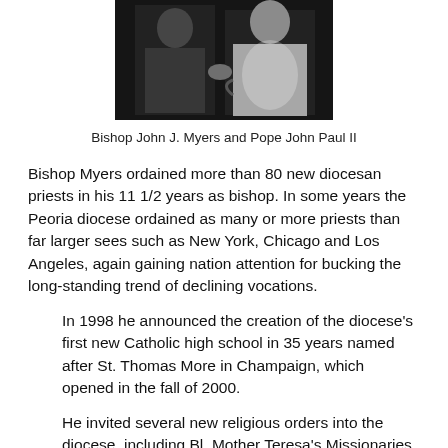[Figure (photo): Black and white photograph of Bishop John J. Myers and Pope John Paul II]
Bishop John J. Myers and Pope John Paul II
Bishop Myers ordained more than 80 new diocesan priests in his 11 1/2 years as bishop. In some years the Peoria diocese ordained as many or more priests than far larger sees such as New York, Chicago and Los Angeles, again gaining nation attention for bucking the long-standing trend of declining vocations.
In 1998 he announced the creation of the diocese's first new Catholic high school in 35 years named after St. Thomas More in Champaign, which opened in the fall of 2000.
He invited several new religious orders into the diocese, including Bl. Mother Teresa's Missionaries of Charity, the